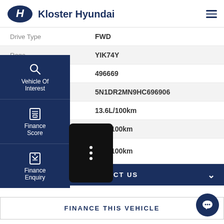Kloster Hyundai
| Field | Value |
| --- | --- |
| Drive Type | FWD |
| Rego | YIK74Y |
| [Stock N]o | 496669 |
| [VIN] | 5N1DR2MN9HC696906 |
| [Fuel] Consumption [City] | 13.6L/100km |
| [Fuel Consum]ption [Highway] | 7.7L/100km |
| Fuel Consumption (Combined) | 9.9L/100km |
Vehicle Of Interest
Finance Score
Finance Enquiry
CONTACT US
FINANCE THIS VEHICLE